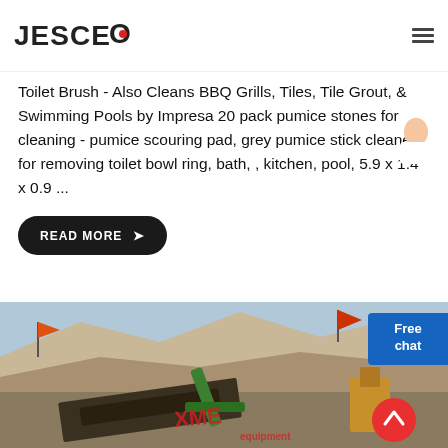JESCO
Toilet Brush - Also Cleans BBQ Grills, Tiles, Tile Grout, & Swimming Pools by Impresa 20 pack pumice stones for cleaning - pumice scouring pad, grey pumice stick cleaner for removing toilet bowl ring, bath, , kitchen, pool, 5.9 x 1.4 x 0.9 ...
READ MORE →
[Figure (photo): Outdoor quarry or mining site with excavation equipment, orange flags, green machinery with XME branding, rocky hillside in background]